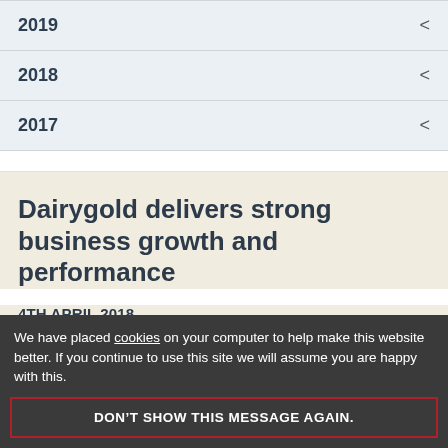2019
2018
2017
Dairygold delivers strong business growth and performance
4TH APRIL 2018
Dairygold, Ireland's largest farmer owned dairy
We have placed cookies on your computer to help make this website better. If you continue to use this site we will assume you are happy with this.
DON'T SHOW THIS MESSAGE AGAIN.